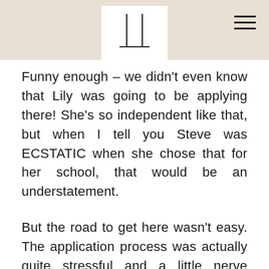[Figure (logo): Two vertical lines forming an abstract logo on a white square background, set against a beige/tan header bar with a hamburger menu icon in the top right corner.]
Funny enough – we didn't even know that Lily was going to be applying there! She's so independent like that, but when I tell you Steve was ECSTATIC when she chose that for her school, that would be an understatement.
But the road to get here wasn't easy. The application process was actually quite stressful and a little nerve wracking. BUT we did have a TON of growth...